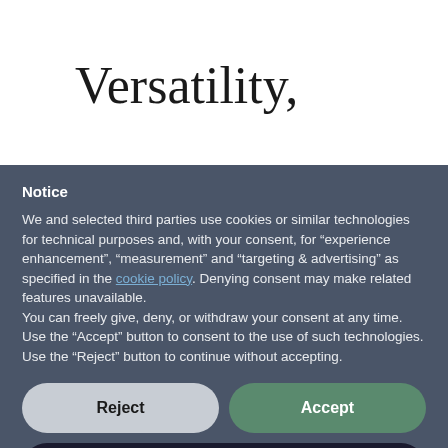Versatility,
Notice
We and selected third parties use cookies or similar technologies for technical purposes and, with your consent, for “experience enhancement”, “measurement” and “targeting & advertising” as specified in the cookie policy. Denying consent may make related features unavailable.
You can freely give, deny, or withdraw your consent at any time. Use the “Accept” button to consent to the use of such technologies. Use the “Reject” button to continue without accepting.
Reject
Accept
Learn more and customise